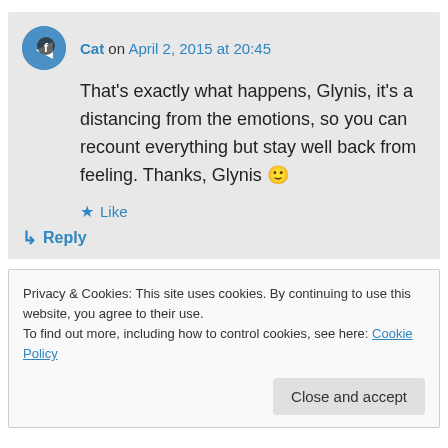Cat on April 2, 2015 at 20:45
That's exactly what happens, Glynis, it's a distancing from the emotions, so you can recount everything but stay well back from feeling. Thanks, Glynis 🙂
★ Like
↳ Reply
Privacy & Cookies: This site uses cookies. By continuing to use this website, you agree to their use. To find out more, including how to control cookies, see here: Cookie Policy
Close and accept